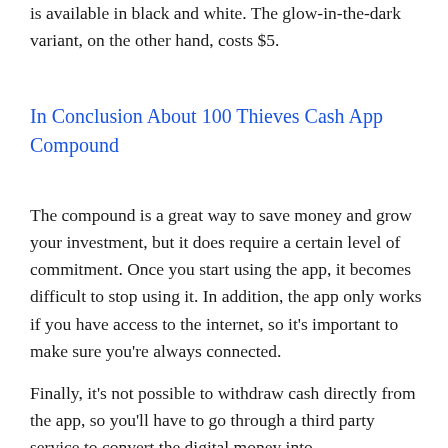is available in black and white. The glow-in-the-dark variant, on the other hand, costs $5.
In Conclusion About 100 Thieves Cash App Compound
The compound is a great way to save money and grow your investment, but it does require a certain level of commitment. Once you start using the app, it becomes difficult to stop using it. In addition, the app only works if you have access to the internet, so it's important to make sure you're always connected.
Finally, it's not possible to withdraw cash directly from the app, so you'll have to go through a third party service to convert the digital money into